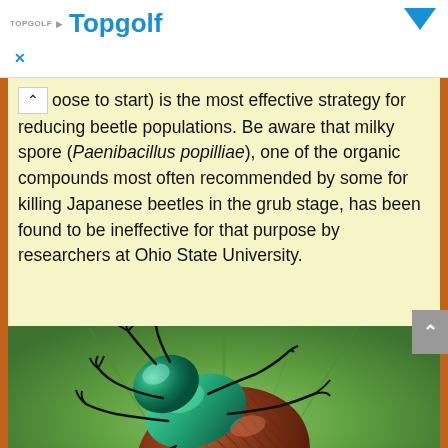TOPGOLF Topgolf
(oose to start) is the most effective strategy for reducing beetle populations. Be aware that milky spore (Paenibacillus popilliae), one of the organic compounds most often recommended by some for killing Japanese beetles in the grub stage, has been found to be ineffective for that purpose by researchers at Ohio State University.
[Figure (photo): Close-up photograph of a Japanese beetle (Popillia japonica) on a green leaf, showing its distinctive iridescent green head and thorax with copper-brown wing covers and white tufts along the abdomen edges.]